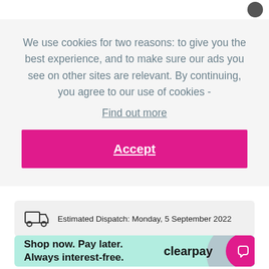We use cookies for two reasons: to give you the best experience, and to make sure our ads you see on other sites are relevant. By continuing, you agree to our use of cookies - Find out more
Accept
Estimated Dispatch: Monday, 5 September 2022
Shop now. Pay later. Always interest-free.
[Figure (logo): Clearpay logo text]